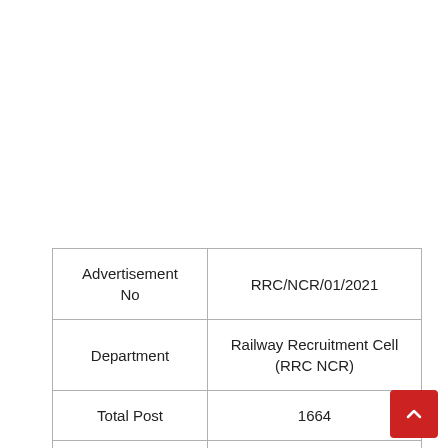| Advertisement No | RRC/NCR/01/2021 |
| --- | --- |
| Department | Railway Recruitment Cell (RRC NCR) |
| Total Post | 1664 |
| Post Name | Various Trade Apprentice |